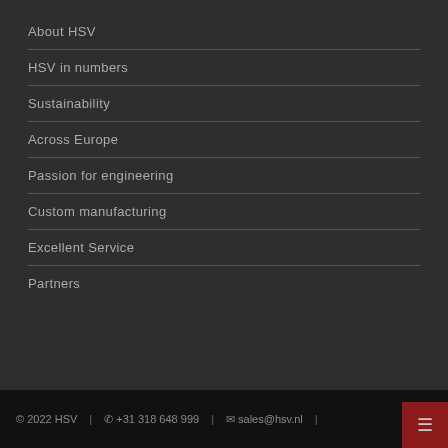About HSV
HSV in numbers
Sustainability
Across Europe
Passion for engineering
Custom manufacturing
Excellent Service
Partners
© 2022 HSV  |  ☎ +31 318 648 999  |  ✉ sales@hsv.nl  |